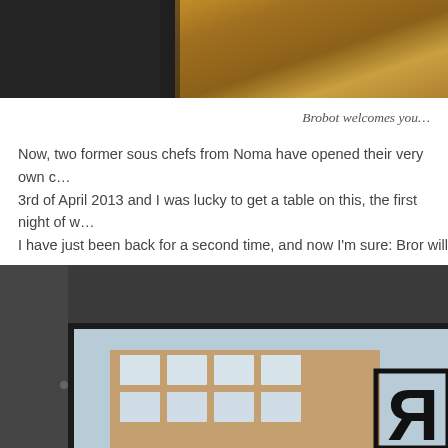[Figure (photo): Top portion of a restaurant interior photo showing dark walls and a wooden architectural element (beam or shelf) in warm brown tones]
Brobot welcomes you…
Now, two former sous chefs from Noma have opened their very own c… 3rd of April 2013 and I was lucky to get a table on this, the first night of w… I have just been back for a second time, and now I'm sure: Bror will grow…
[Figure (photo): Interior/exterior photo of restaurant Bror showing dark ceiling and wall on the left, a large window frame looking out to a building facade, and a reversed letter R logo visible in the lower right corner of the window]